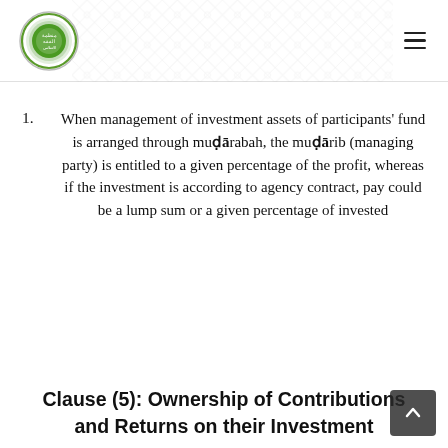[Organization logo: Islamic body with Arabic text] [hamburger menu icon]
1. When management of investment assets of participants' fund is arranged through mudārabah, the mudārib (managing party) is entitled to a given percentage of the profit, whereas if the investment is according to agency contract, pay could be a lump sum or a given percentage of invested
Clause (5): Ownership of Contributions and Returns on their Investment